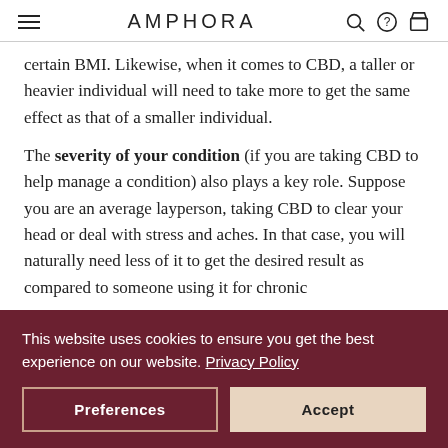AMPHORA
certain BMI. Likewise, when it comes to CBD, a taller or heavier individual will need to take more to get the same effect as that of a smaller individual.
The severity of your condition (if you are taking CBD to help manage a condition) also plays a key role. Suppose you are an average layperson, taking CBD to clear your head or deal with stress and aches. In that case, you will naturally need less of it to get the desired result as compared to someone using it for chronic
This website uses cookies to ensure you get the best experience on our website. Privacy Policy
Preferences
Accept